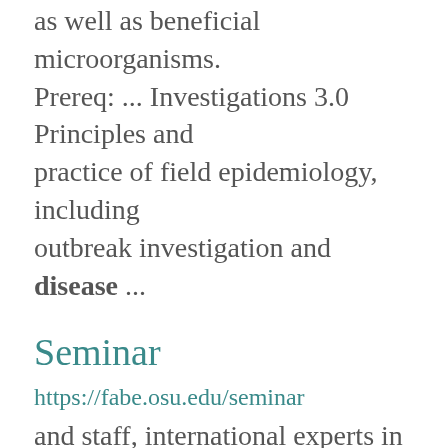as well as beneficial microorganisms. Prereq: ... Investigations 3.0 Principles and practice of field epidemiology, including outbreak investigation and disease ...
Seminar
https://fabe.osu.edu/seminar
and staff, international experts in current topics, and students sharing updates on their research. ...
Food Safety Consortium
https://foodsafety.osu.edu/food-safety-consortium-0
foodborne disease around the world. Click HERE to connect with a question ...